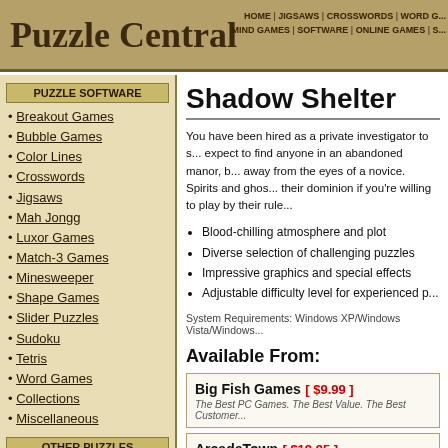Puzzle Central | HOME | JIGSAWS | CROSSWORDS | WORD G... | MIND GAMES | SOFTWARE | ONLINE GAMES | S...
PUZZLE SOFTWARE
Breakout Games
Bubble Games
Color Lines
Crosswords
Jigsaws
Mah Jongg
Luxor Games
Match-3 Games
Minesweeper
Shape Games
Slider Puzzles
Sudoku
Tetris
Word Games
Collections
Miscellaneous
OTHER PUZZLES
Jigsaw Puzzles
Crossword Puzzles
Mind Games
Word Games
Puzzle Software
Online Games
Puzzle Books
Shadow Shelter
You have been hired as a private investigator to s... expect to find anyone in an abandoned manor, b... away from the eyes of a novice. Spirits and ghos... their dominion if you're willing to play by their rule...
Blood-chilling atmosphere and plot
Diverse selection of challenging puzzles
Impressive graphics and special effects
Adjustable difficulty level for experienced p...
System Requirements: Windows XP/Windows Vista/Windows...
Available From:
Big Fish Games [ $9.99 ] The Best PC Games. The Best Value. The Best Customer...
ArcadeTown [ $19.95 ] Games as low as $7.95 each when you join Club ArcadeT...